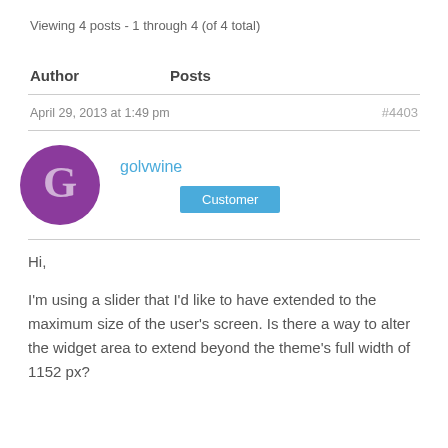Viewing 4 posts - 1 through 4 (of 4 total)
| Author | Posts |
| --- | --- |
| April 29, 2013 at 1:49 pm | #4403 |
| golvwine / Customer |  |
Hi,
I'm using a slider that I'd like to have extended to the maximum size of the user's screen. Is there a way to alter the widget area to extend beyond the theme's full width of 1152 px?